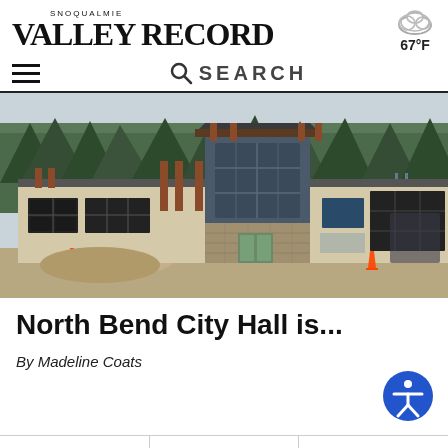SNOQUALMIE VALLEY RECORD
67°F
SEARCH
[Figure (photo): Construction photo of North Bend City Hall building under construction, showing modern architecture with large windows, wood beams, stone accents, and construction equipment/scaffolding on site.]
North Bend City Hall is...
By Madeline Coats